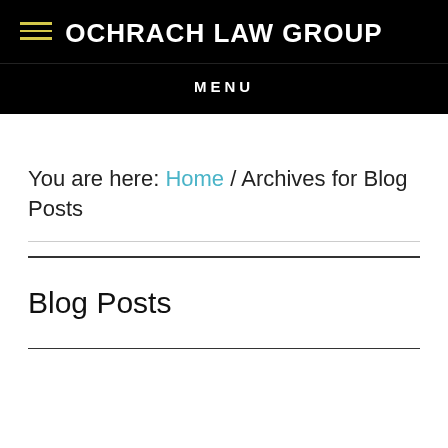OCHRACH LAW GROUP
MENU
You are here: Home / Archives for Blog Posts
Blog Posts